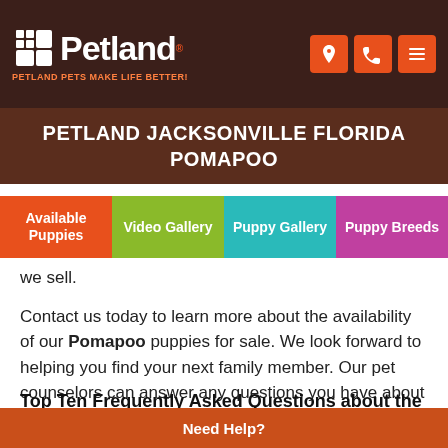[Figure (logo): Petland logo with paw icon and tagline 'Petland Pets Make Life Better!' on dark brown header background with orange location, phone, and menu icon buttons]
PETLAND JACKSONVILLE FLORIDA POMAPOO
[Figure (screenshot): Navigation tab bar with four tabs: Available Puppies (orange), Video Gallery (green), Puppy Gallery (teal), Puppy Breeds (purple)]
we sell.
Contact us today to learn more about the availability of our Pomapoo puppies for sale. We look forward to helping you find your next family member. Our pet counselors can answer any questions you have about our Pomapoo puppies.
Top Ten Frequently Asked Questions about the Pomapoo
Need Help?